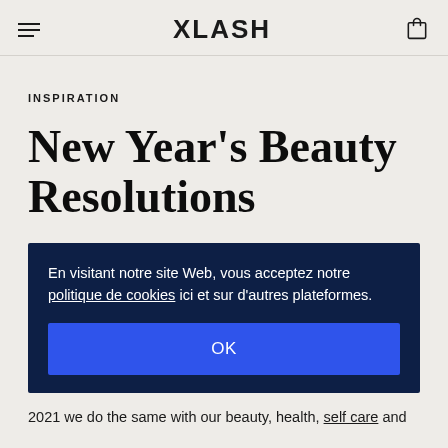XLASH
INSPIRATION
New Year's Beauty Resolutions
En visitant notre site Web, vous acceptez notre politique de cookies ici et sur d'autres plateformes.
OK
2021 we do the same with our beauty, health, self care and